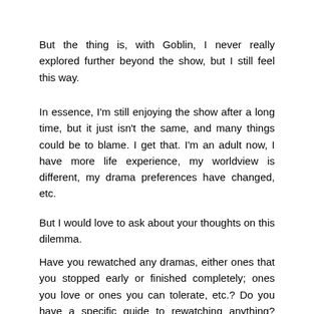But the thing is, with Goblin, I never really explored further beyond the show, but I still feel this way.
In essence, I'm still enjoying the show after a long time, but it just isn't the same, and many things could be to blame. I get that. I'm an adult now, I have more life experience, my worldview is different, my drama preferences have changed, etc.
But I would love to ask about your thoughts on this dilemma.
Have you rewatched any dramas, either ones that you stopped early or finished completely; ones you love or ones you can tolerate, etc.? Do you have a specific guide to rewatching anything? Have you ever felt this way? Have you ever fallen out of love with a drama after rewatching it?
I actually forgot to add a sentence about a “slice of life” lens that I needed to adopt for my Goblin rewatch, shifting from a